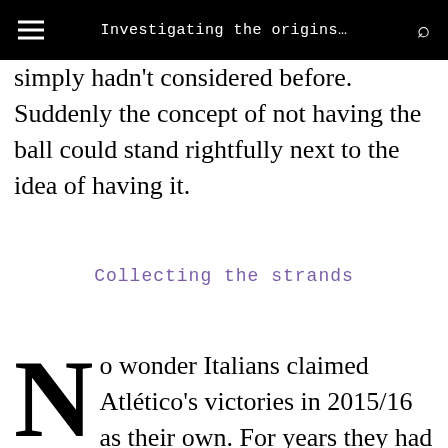Investigating the origins…
simply hadn't considered before. Suddenly the concept of not having the ball could stand rightfully next to the idea of having it.
Collecting the strands
No wonder Italians claimed Atlético's victories in 2015/16 as their own. For years they had been criticised for playing in a similar fashion, without emphasis on ball possession